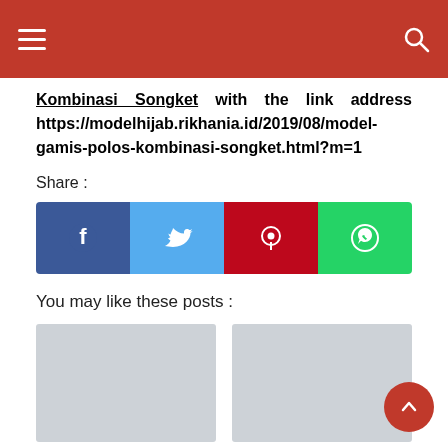Navigation bar with hamburger menu and search icon
Kombinasi Songket with the link address https://modelhijab.rikhania.id/2019/08/model-gamis-polos-kombinasi-songket.html?m=1
Share :
[Figure (infographic): Social media share buttons: Facebook (blue), Twitter (light blue), Pinterest (red), WhatsApp (green)]
You may like these posts :
[Figure (photo): Placeholder image (light gray) for Cara Pakai Hijab Anak Kecil]
Cara Pakai Hijab Anak Kecil
[Figure (photo): Placeholder image (light gray) for Cara Pakai Hijab Anak Mu...]
Cara Pakai Hijab Anak Mu...